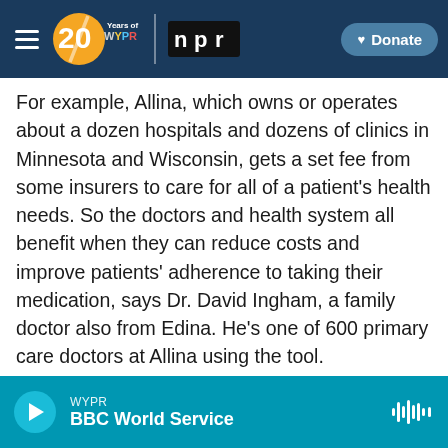[Figure (screenshot): WYPR 20 Years navigation bar with NPR logo and Donate button]
For example, Allina, which owns or operates about a dozen hospitals and dozens of clinics in Minnesota and Wisconsin, gets a set fee from some insurers to care for all of a patient's health needs. So the doctors and health system all benefit when they can reduce costs and improve patients' adherence to taking their medication, says Dr. David Ingham, a family doctor also from Edina. He's one of 600 primary care doctors at Allina using the tool.
"When we prescribe a more expensive medication, we share less revenue from the insurance
WYPR BBC World Service